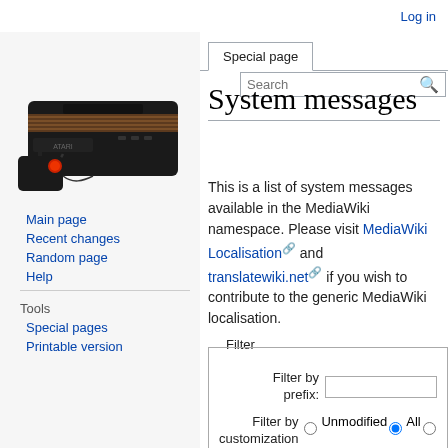Log in
[Figure (photo): Atari 2600 game console with joystick controller, black colored]
Main page
Recent changes
Random page
Help
Tools
Special pages
Printable version
Special page
System messages
This is a list of system messages available in the MediaWiki namespace. Please visit MediaWiki Localisation and translatewiki.net if you wish to contribute to the generic MediaWiki localisation.
Filter — Filter by prefix: [input] Filter by customization state: Unmodified (radio) All (radio selected) ...